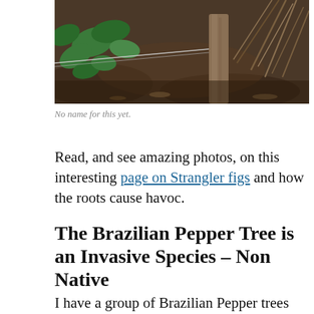[Figure (photo): Close-up photo of plant stems, green leaves, dried brown fronds and leaf litter on the ground, showing forest undergrowth.]
No name for this yet.
Read, and see amazing photos, on this interesting page on Strangler figs and how the roots cause havoc.
The Brazilian Pepper Tree is an Invasive Species – Non Native
I have a group of Brazilian Pepper trees just